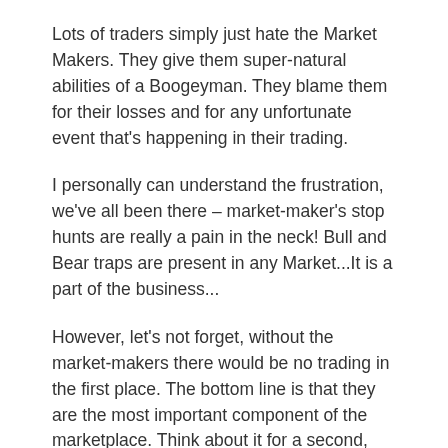Lots of traders simply just hate the Market Makers. They give them super-natural abilities of a Boogeyman. They blame them for their losses and for any unfortunate event that's happening in their trading.
I personally can understand the frustration, we've all been there – market-maker's stop hunts are really a pain in the neck! Bull and Bear traps are present in any Market...It is a part of the business...
However, let's not forget, without the market-makers there would be no trading in the first place. The bottom line is that they are the most important component of the marketplace. Think about it for a second, they offer liquidity to the